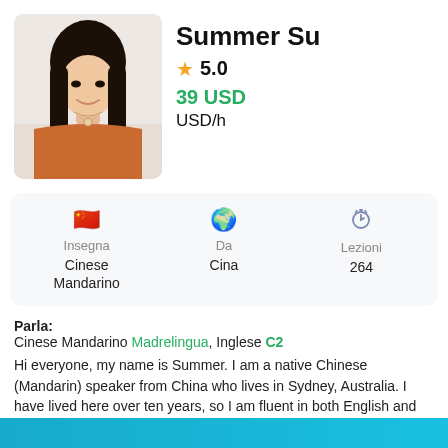[Figure (photo): Profile photo of Summer Su, a young woman with long black hair, wearing an orange top, smiling, against a light background.]
Summer Su
★ 5.0
39 USD
USD/h
| Insegna | Da | Lezioni |
| --- | --- | --- |
| Cinese Mandarino | Cina | 264 |
Parla: Cinese Mandarino Madrelingua, Inglese C2
Hi everyone, my name is Summer. I am a native Chinese (Mandarin) speaker from China who lives in Sydney, Australia. I have lived here over ten years, so I am fluent in both English and Mandarin. I am a really enthusiastic,
Leggi altro